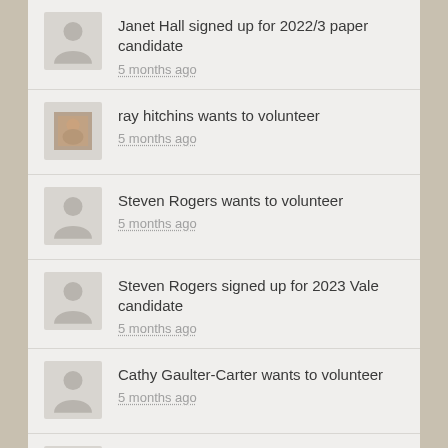Janet Hall signed up for 2022/3 paper candidate
5 months ago
ray hitchins wants to volunteer
5 months ago
Steven Rogers wants to volunteer
5 months ago
Steven Rogers signed up for 2023 Vale candidate
5 months ago
Cathy Gaulter-Carter wants to volunteer
5 months ago
Cathy Gaulter-Carter signed up for 2023 South Oxford hire candidate